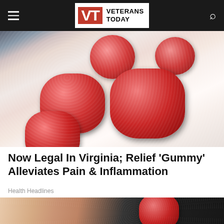Veterans Today
[Figure (photo): A hand holding several red sugary gummy candies against a dark background]
Now Legal In Virginia; Relief 'Gummy' Alleviates Pain & Inflammation
Health Headlines
[Figure (photo): Close-up of a hand holding a single red sugary gummy candy against a dark background]